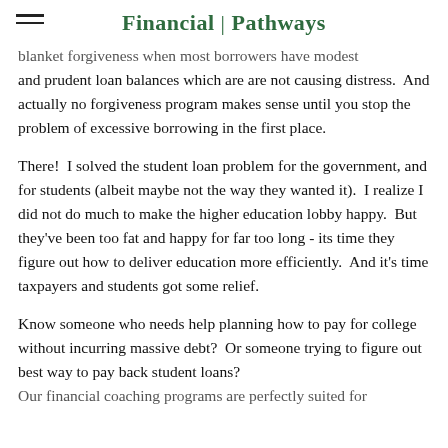Financial | Pathways
blanket forgiveness when most borrowers have modest and prudent loan balances which are are not causing distress.  And actually no forgiveness program makes sense until you stop the problem of excessive borrowing in the first place.
There!  I solved the student loan problem for the government, and for students (albeit maybe not the way they wanted it).  I realize I did not do much to make the higher education lobby happy.  But they've been too fat and happy for far too long - its time they figure out how to deliver education more efficiently.  And it's time taxpayers and students got some relief.
Know someone who needs help planning how to pay for college without incurring massive debt?  Or someone trying to figure out best way to pay back student loans?  Our financial coaching programs are perfectly suited for